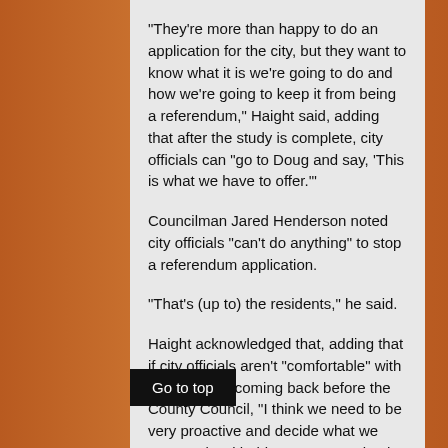"They're more than happy to do an application for the city, but they want to know what it is we're going to do and how we're going to keep it from being a referendum," Haight said, adding that after the study is complete, city officials can "go to Doug and say, 'This is what we have to offer.'"
Councilman Jared Henderson noted city officials "can't do anything" to stop a referendum application.
"That's (up to) the residents," he said.
Haight acknowledged that, adding that if city officials aren't "comfortable" with the proposal coming back before the County Council, "I think we need to be very proactive and decide what we want to do with this property, make the decision, and I think we can annex it into our city."
Haight said Friday that city officials also plan to involve leaders of other cities